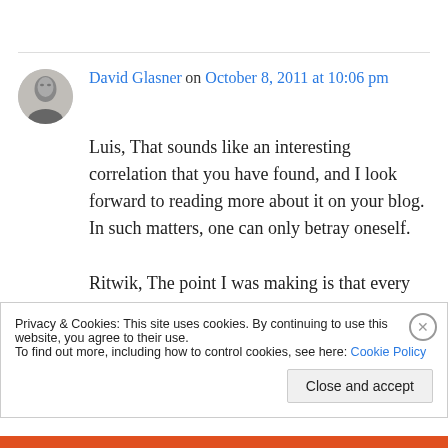[Figure (photo): Avatar photo of David Glasner, a black and white portrait of an older man]
David Glasner on October 8, 2011 at 10:06 pm
Luis, That sounds like an interesting correlation that you have found, and I look forward to reading more about it on your blog. In such matters, one can only betray oneself.
Ritwik, The point I was making is that every real
Privacy & Cookies: This site uses cookies. By continuing to use this website, you agree to their use. To find out more, including how to control cookies, see here: Cookie Policy
Close and accept